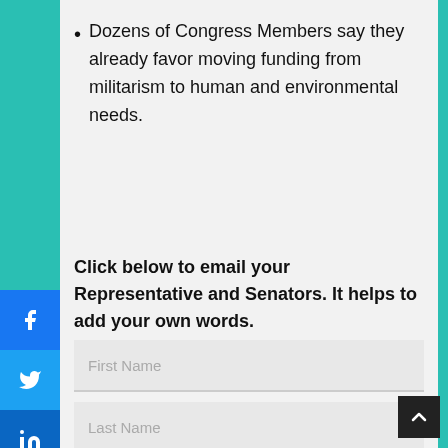Dozens of Congress Members say they already favor moving funding from militarism to human and environmental needs.
Click below to email your Representative and Senators. It helps to add your own words.
[Figure (other): Form fields: First Name, Last Name, Email Address input boxes]
[Figure (other): Social media share buttons sidebar: Facebook, Twitter, LinkedIn]